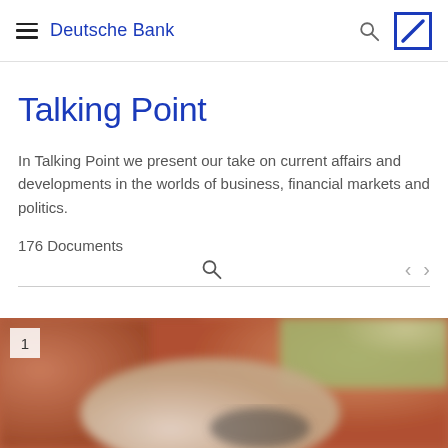Deutsche Bank
Talking Point
In Talking Point we present our take on current affairs and developments in the worlds of business, financial markets and politics.
176 Documents
[Figure (photo): A person wearing white gloves laying or handling bricks, with a trowel visible. Badge showing number 1 in upper left corner.]